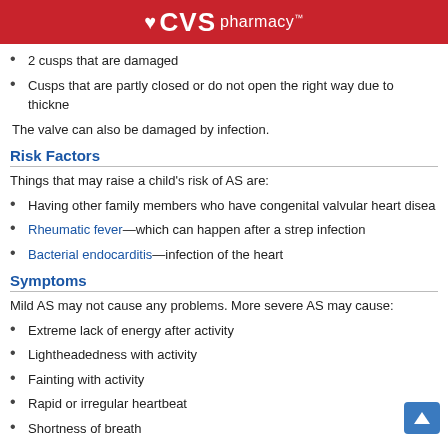CVS pharmacy
2 cusps that are damaged
Cusps that are partly closed or do not open the right way due to thickne…
The valve can also be damaged by infection.
Risk Factors
Things that may raise a child's risk of AS are:
Having other family members who have congenital valvular heart disea…
Rheumatic fever—which can happen after a strep infection
Bacterial endocarditis—infection of the heart
Symptoms
Mild AS may not cause any problems. More severe AS may cause:
Extreme lack of energy after activity
Lightheadedness with activity
Fainting with activity
Rapid or irregular heartbeat
Shortness of breath
Pain, squeezing, pressure, or tightness of the chest, usually with activit…
Rarely, AS may cause heart rhythm problems and sudden death.